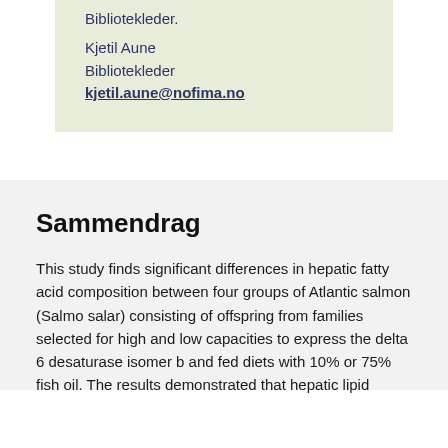Bibliotekleder.
Kjetil Aune
Bibliotekleder
kjetil.aune@nofima.no
Sammendrag
This study finds significant differences in hepatic fatty acid composition between four groups of Atlantic salmon (Salmo salar) consisting of offspring from families selected for high and low capacities to express the delta 6 desaturase isomer b and fed diets with 10% or 75% fish oil. The results demonstrated that hepatic lipid